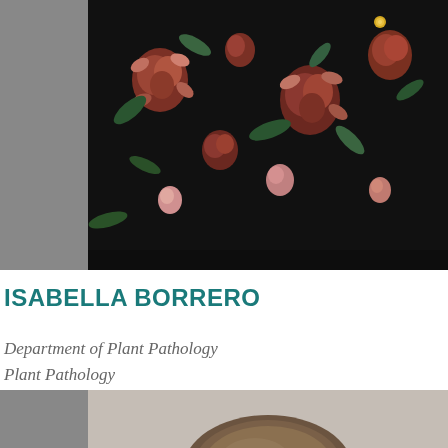[Figure (photo): Close-up photo of a person wearing a black floral-patterned dress/blouse with red, pink, and green flowers against a dark background. Only the torso/clothing area is visible.]
ISABELLA BORRERO
Department of Plant Pathology
Plant Pathology
Tampa, FL
[Figure (photo): Partial photo at bottom of page showing top of a person's head with brown hair against a light gray background.]